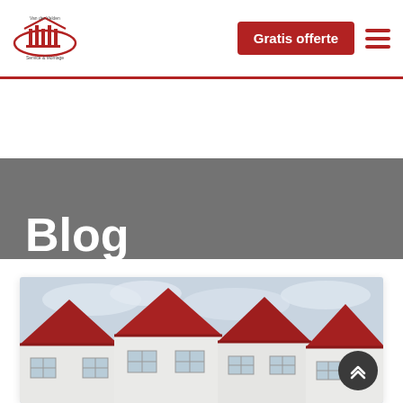Van der Velden Service & Montage — Gratis offerte navigation
Blog
Van der Velden Service & Montage  -  Blog
[Figure (photo): Row of white houses with red peaked roofs and triangular gable ends against an overcast sky]